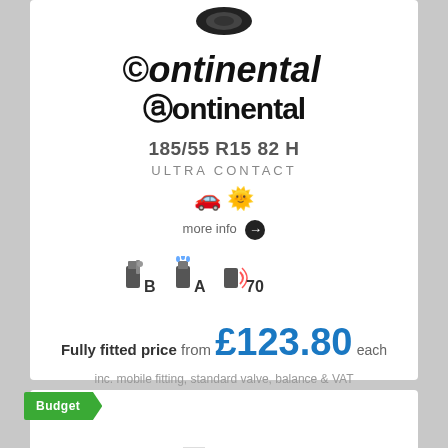[Figure (logo): Continental tyre brand logo with stylized C and bold text]
185/55 R15 82 H
ULTRA CONTACT
[Figure (infographic): Car icon and sun icon indicating summer/car tyre]
more info →
[Figure (infographic): Fuel efficiency rating B, wet grip rating A, noise level 70 dB icons]
Fully fitted price from £123.80 each
inc. mobile fitting, standard valve, balance & VAT
[Figure (logo): Vent Tyres logo in grey at bottom of page]